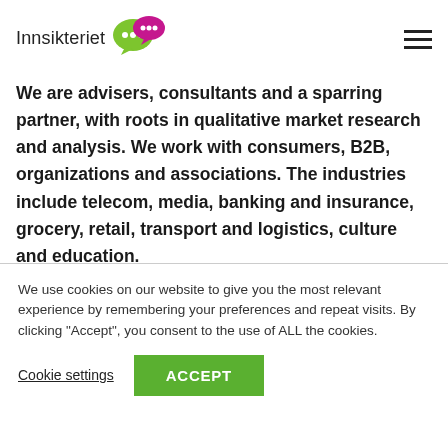[Figure (logo): Innsikteriet logo with speech bubble icons in green and magenta/pink]
We are advisers, consultants and a sparring partner, with roots in qualitative market research and analysis. We work with consumers, B2B, organizations and associations. The industries include telecom, media, banking and insurance, grocery, retail, transport and logistics, culture and education.
We use cookies on our website to give you the most relevant experience by remembering your preferences and repeat visits. By clicking "Accept", you consent to the use of ALL the cookies.
Cookie settings
ACCEPT